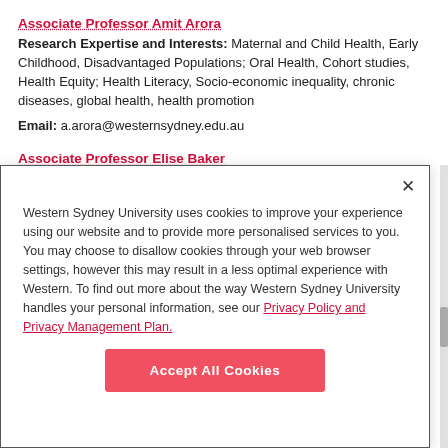Associate Professor Amit Arora
Research Expertise and Interests: Maternal and Child Health, Early Childhood, Disadvantaged Populations; Oral Health, Cohort studies, Health Equity; Health Literacy, Socio-economic inequality, chronic diseases, global health, health promotion
Email: a.arora@westernsydney.edu.au
Associate Professor Elise Baker
Western Sydney University uses cookies to improve your experience using our website and to provide more personalised services to you. You may choose to disallow cookies through your web browser settings, however this may result in a less optimal experience with Western. To find out more about the way Western Sydney University handles your personal information, see our Privacy Policy and Privacy Management Plan.
Accept All Cookies